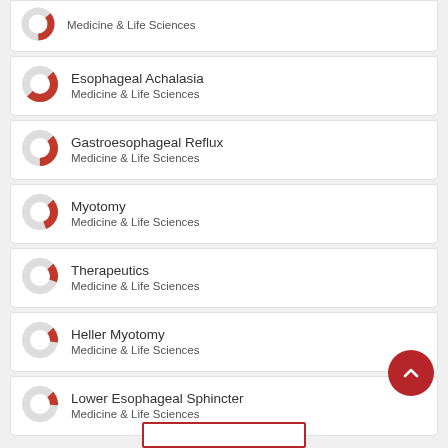Medicine & Life Sciences
Esophageal Achalasia
Medicine & Life Sciences
Gastroesophageal Reflux
Medicine & Life Sciences
Myotomy
Medicine & Life Sciences
Therapeutics
Medicine & Life Sciences
Heller Myotomy
Medicine & Life Sciences
Lower Esophageal Sphincter
Medicine & Life Sciences